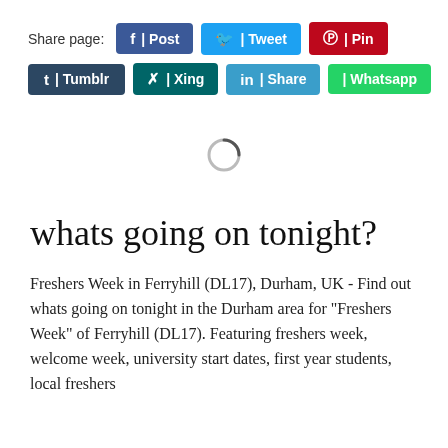Share page:  f | Post   | Tweet   | Pin   t | Tumblr   X | Xing   in | Share   | Whatsapp
[Figure (other): Loading spinner / circle animation indicator]
whats going on tonight?
Freshers Week in Ferryhill (DL17), Durham, UK - Find out whats going on tonight in the Durham area for "Freshers Week" of Ferryhill (DL17). Featuring freshers week, welcome week, university start dates, first year students, local freshers